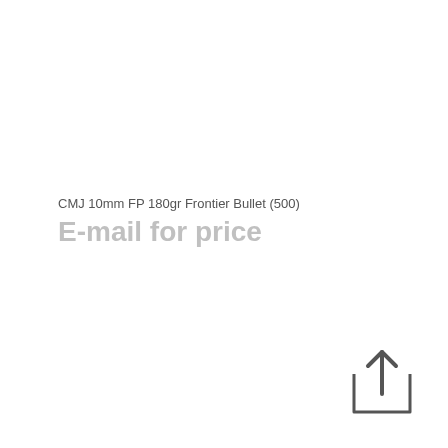CMJ 10mm FP 180gr Frontier Bullet (500)
E-mail for price
[Figure (other): An upload/share icon: a square with an upward arrow emerging from the top center]